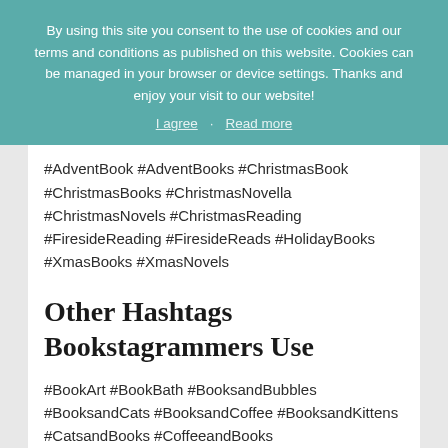By using this site you consent to the use of cookies and our terms and conditions as published on this website. Cookies can be managed in your browser or device settings. Thanks and enjoy your visit to our website!
I agree · Read more
#AdventBook #AdventBooks #ChristmasBook #ChristmasBooks #ChristmasNovella #ChristmasNovels #ChristmasReading #FiresideReading #FiresideReads #HolidayBooks #XmasBooks #XmasNovels
Other Hashtags Bookstagrammers Use
#BookArt #BookBath #BooksandBubbles #BooksandCats #BooksandCoffee #BooksandKittens #CatsandBooks #CoffeeandBooks